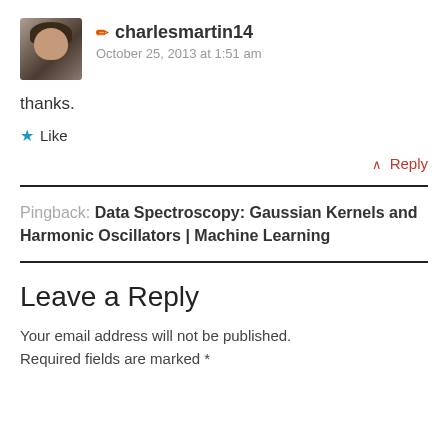[Figure (photo): Profile photo of charlesmartin14, a man with a beard smiling]
✏ charlesmartin14
October 25, 2013 at 1:51 am
thanks.
★ Like
^ Reply
Pingback: Data Spectroscopy: Gaussian Kernels and Harmonic Oscillators | Machine Learning
Leave a Reply
Your email address will not be published. Required fields are marked *